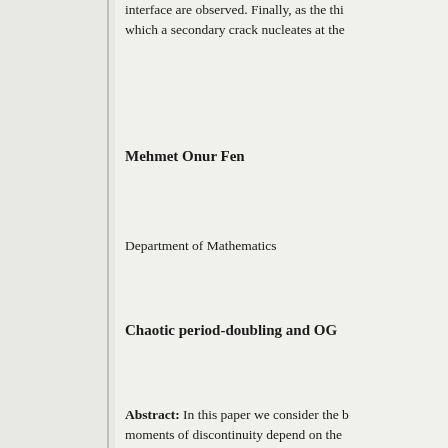interface are observed. Finally, as the thi... which a secondary crack nucleates at the...
Mehmet Onur Fen
Department of Mathematics
Chaotic period-doubling and OG...
Abstract: In this paper we consider the b... moments of discontinuity depend on the... cascade is proved, and the OGY control... Appropriate simulations of the chaos and...
Serdar Ciftci
Department of Computer Engineering
A New edge detector using inter...
Abstract: In this paper, we propose a ne... measure, called Intersection Consistency... of junctions (Kalkan et al., VISAPP 200...